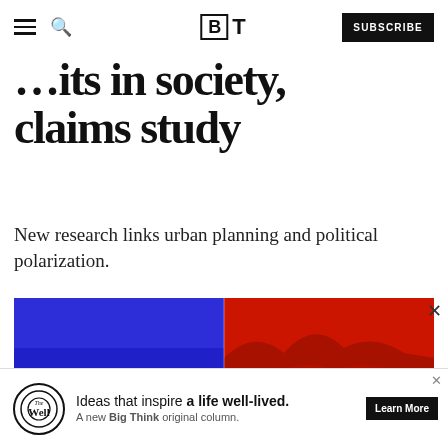BT — SUBSCRIBE
…fits in society, claims study
New research links urban planning and political polarization.
[Figure (illustration): Split image of a desert landscape — left half tinted blue, right half tinted red, representing political polarization]
Ideas that inspire a life well-lived. A new Big Think original column. — Learn More